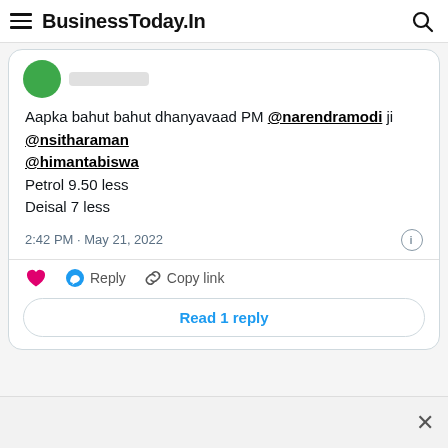BusinessToday.In
[Figure (screenshot): A tweet embedded in a BusinessToday.In article. The tweet reads: Aapka bahut bahut dhanyavaad PM @narendramodi ji @nsitharaman @himantabiswa Petrol 9.50 less Deisal 7 less. Posted at 2:42 PM · May 21, 2022. Actions: heart, Reply, Copy link. Button: Read 1 reply.]